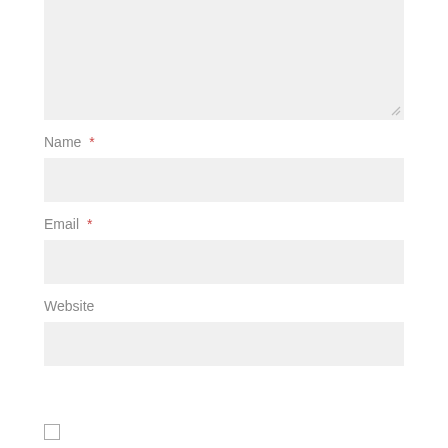[Figure (screenshot): Large textarea input box with resize handle at bottom right, gray background]
Name *
[Figure (screenshot): Text input field for Name, gray background]
Email *
[Figure (screenshot): Text input field for Email, gray background]
Website
[Figure (screenshot): Text input field for Website, gray background]
[Figure (screenshot): Checkbox at bottom left, unchecked]